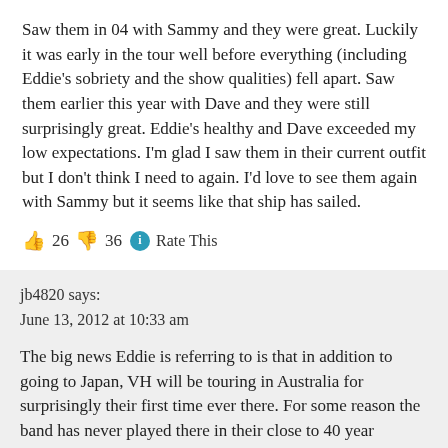Saw them in 04 with Sammy and they were great. Luckily it was early in the tour well before everything (including Eddie's sobriety and the show qualities) fell apart. Saw them earlier this year with Dave and they were still surprisingly great. Eddie's healthy and Dave exceeded my low expectations. I'm glad I saw them in their current outfit but I don't think I need to again. I'd love to see them again with Sammy but it seems like that ship has sailed.
👍 26 👎 36 ℹ Rate This
jb4820 says:
June 13, 2012 at 10:33 am
The big news Eddie is referring to is that in addition to going to Japan, VH will be touring in Australia for surprisingly their first time ever there. For some reason the band has never played there in their close to 40 year existence (wow saying that makes me feel old)…..either way, I'd be surprised if they